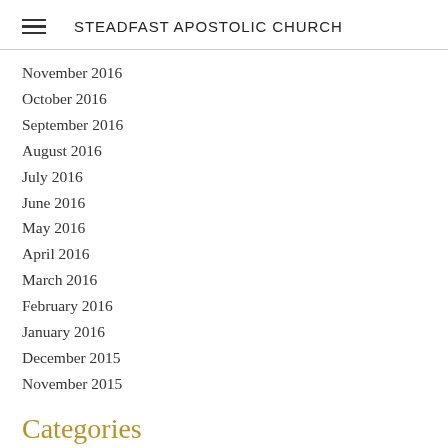STEADFAST APOSTOLIC CHURCH
November 2016
October 2016
September 2016
August 2016
July 2016
June 2016
May 2016
April 2016
March 2016
February 2016
January 2016
December 2015
November 2015
Categories
All